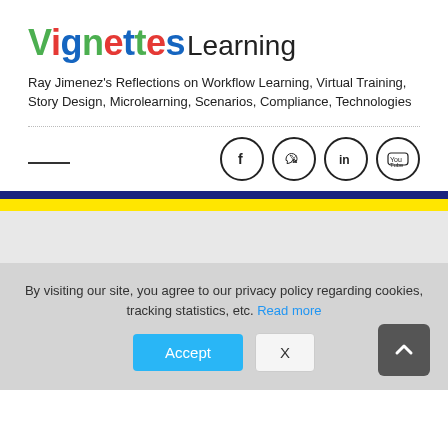Vignettes Learning
Ray Jimenez's Reflections on Workflow Learning, Virtual Training, Story Design, Microlearning, Scenarios, Compliance, Technologies
[Figure (infographic): Social media icons: Facebook, Twitter, LinkedIn, YouTube in circular bordered buttons]
By visiting our site, you agree to our privacy policy regarding cookies, tracking statistics, etc. Read more
Accept  X